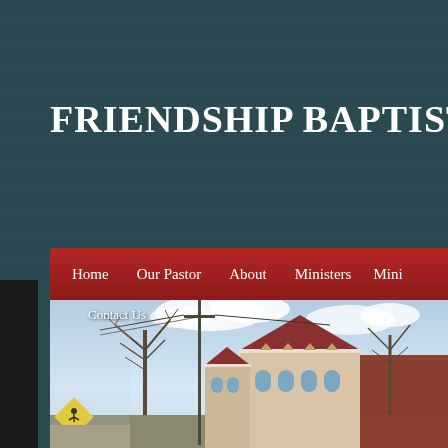FRIENDSHIP BAPTIST CHU
Home   Our Pastor   About   Ministers   Mini
Contact Us
[Figure (photo): Exterior photo of Friendship Baptist Church building with brick facade, arched windows, white trim, bare trees, utility pole, and cloudy sky in the background. A yellow pedestrian crossing sign is visible in the lower left.]